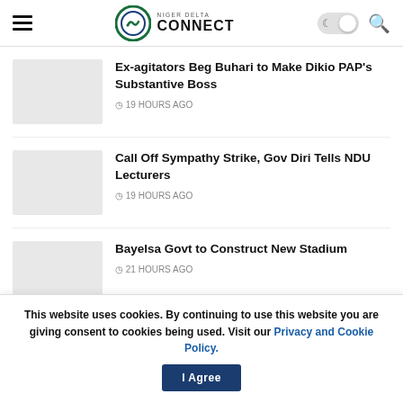[Figure (logo): Niger Delta Connect logo with circular green icon and text]
Ex-agitators Beg Buhari to Make Dikio PAP's Substantive Boss — 19 HOURS AGO
Call Off Sympathy Strike, Gov Diri Tells NDU Lecturers — 19 HOURS AGO
Bayelsa Govt to Construct New Stadium — 21 HOURS AGO
This website uses cookies. By continuing to use this website you are giving consent to cookies being used. Visit our Privacy and Cookie Policy. I Agree